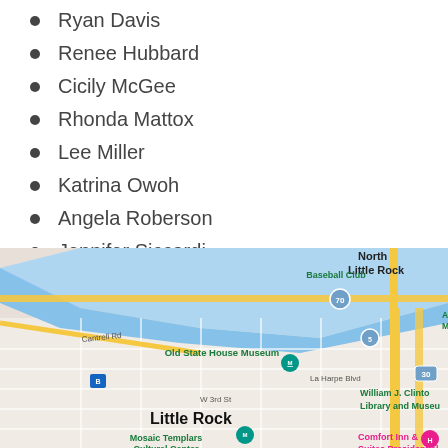Ryan Davis
Renee Hubbard
Cicily McGee
Rhonda Mattox
Lee Miller
Katrina Owoh
Angela Roberson
Jennifer Siccardi
Deborah Springer-Suttlar
[Figure (map): Google Maps view of Little Rock, Arkansas showing downtown area including Old State House Museum, William J. Clinton Library and Museum, Mosaic Templars Cultural Center, Comfort Inn & Suites Presidential, North Little Rock, Arkansas Baseball Club, and Arkansas Maritime Museum along the Arkansas River. Roads shown include Cantrell Rd, La Harpe Blvd, W 3rd St, and highways 70, 5, and 30.]